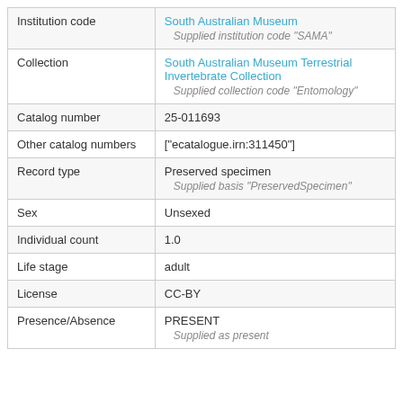| Field | Value |
| --- | --- |
| Institution code | South Australian Museum
Supplied institution code "SAMA" |
| Collection | South Australian Museum Terrestrial Invertebrate Collection
Supplied collection code "Entomology" |
| Catalog number | 25-011693 |
| Other catalog numbers | ["ecatalogue.irn:311450"] |
| Record type | Preserved specimen
Supplied basis "PreservedSpecimen" |
| Sex | Unsexed |
| Individual count | 1.0 |
| Life stage | adult |
| License | CC-BY |
| Presence/Absence | PRESENT
Supplied as present |